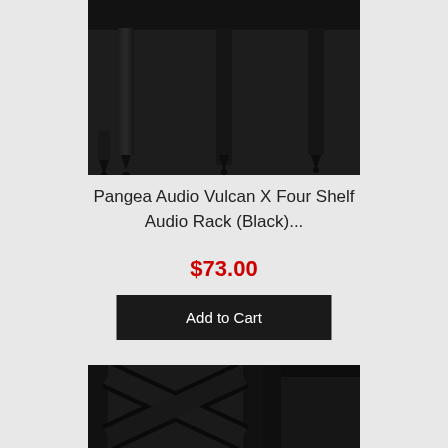[Figure (photo): Close-up photo of Pangea Audio Vulcan X Four Shelf Audio Rack in black, showing the bottom legs with pointed feet on a white/light background]
Pangea Audio Vulcan X Four Shelf Audio Rack (Black)...
$73.00
Add to Cart
[Figure (photo): Close-up photo of Pangea Audio Vulcan X audio rack in black, showing the X-brace cross support structure between the vertical poles]